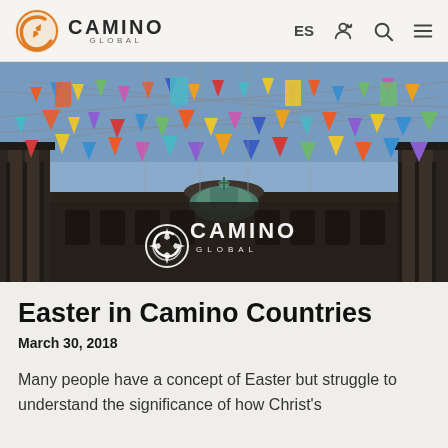Camino Global — navigation bar with logo, ES, user, search, menu icons
[Figure (photo): Street view looking up at a historic building facade decorated with colorful hanging pennant flags and banners in a festive style, with a blue sky background. Camino Global logo overlaid at the bottom center.]
Easter in Camino Countries
March 30, 2018
Many people have a concept of Easter but struggle to understand the significance of how Christ's